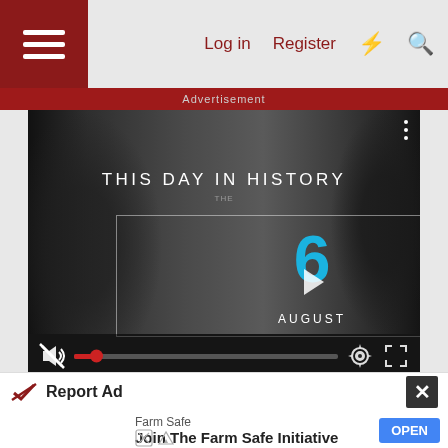Log in  Register
[Figure (screenshot): Video player showing 'THIS DAY IN HISTORY' with date '6 AUGUST', play button overlay, mute button, progress bar, settings and fullscreen icons]
Advertisement
Farm Safe
Report Ad
Farm Safe  Join The Farm Safe Initiative  OPEN